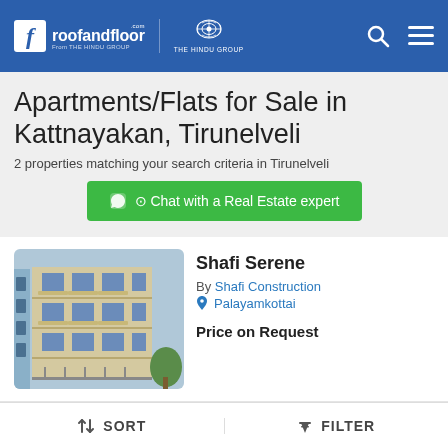roofandfloor.com — THE HINDU GROUP — THE HINDU GROUP
Apartments/Flats for Sale in Kattnayakan, Tirunelveli
2 properties matching your search criteria in Tirunelveli
Chat with a Real Estate expert
[Figure (photo): Exterior photo of multi-story apartment building with balconies, light-colored facade]
Shafi Serene
By Shafi Construction
Palayamkottai
Price on Request
3 BHK Apartments/Flats
SORT   FILTER